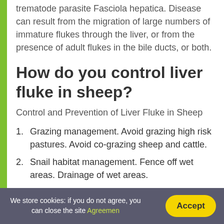trematode parasite Fasciola hepatica. Disease can result from the migration of large numbers of immature flukes through the liver, or from the presence of adult flukes in the bile ducts, or both.
How do you control liver fluke in sheep?
Control and Prevention of Liver Fluke in Sheep
Grazing management. Avoid grazing high risk pastures. Avoid co-grazing sheep and cattle.
Snail habitat management. Fence off wet areas. Drainage of wet areas.
We store cookies: if you do not agree, you can close the site Agreemen